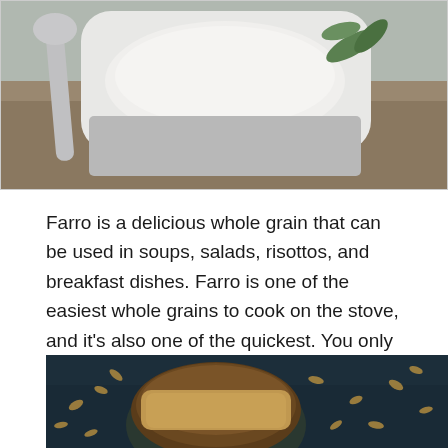[Figure (photo): Top portion of a bowl of farro soup or porridge with a spoon, on a blue cloth, with herbs (cilantro) visible, on a wooden surface.]
Farro is a delicious whole grain that can be used in soups, salads, risottos, and breakfast dishes. Farro is one of the easiest whole grains to cook on the stove, and it's also one of the quickest. You only need a pot, some farro, and water. In less than 20 minutes, it will be ready to eat.
[Figure (photo): A dark wooden bowl filled with raw farro grains sitting on a dark blue wooden board, with farro grains scattered around the bowl.]